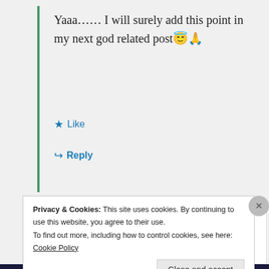Yaaa…… I will surely add this point in my next god related post😇🙏
★ Like
↪ Reply
medha suri — August 21, 2020 at 12:33 pm
Hey Parth, you penned it really well…
Privacy & Cookies: This site uses cookies. By continuing to use this website, you agree to their use. To find out more, including how to control cookies, see here: Cookie Policy
Close and accept